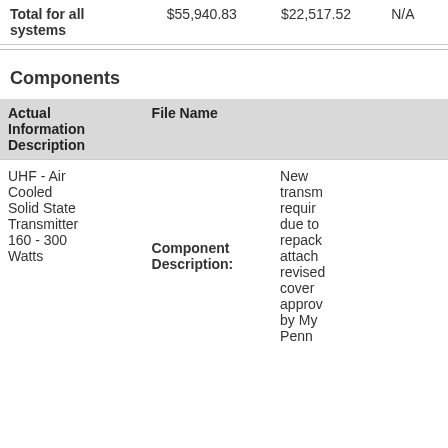|  |  |  |  |
| --- | --- | --- | --- |
| Total for all systems | $55,940.83 | $22,517.52 | N/A |
Components
| Actual Information Description | File Name |  |
| --- | --- | --- |
| UHF - Air Cooled Solid State Transmitter 160 - 300 Watts | Component Description: | New transm require due to repack attach revised cover approv by My Penn |